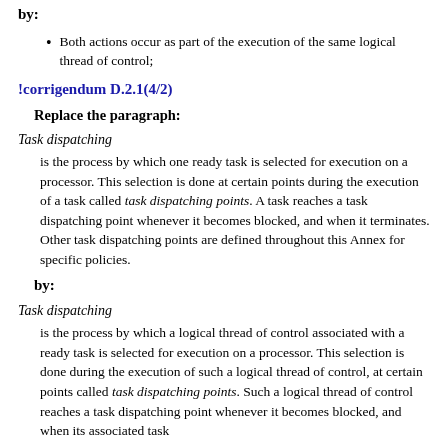by:
Both actions occur as part of the execution of the same logical thread of control;
!corrigendum D.2.1(4/2)
Replace the paragraph:
Task dispatching
is the process by which one ready task is selected for execution on a processor. This selection is done at certain points during the execution of a task called task dispatching points. A task reaches a task dispatching point whenever it becomes blocked, and when it terminates. Other task dispatching points are defined throughout this Annex for specific policies.
by:
Task dispatching
is the process by which a logical thread of control associated with a ready task is selected for execution on a processor. This selection is done during the execution of such a logical thread of control, at certain points called task dispatching points. Such a logical thread of control reaches a task dispatching point whenever it becomes blocked, and when its associated task